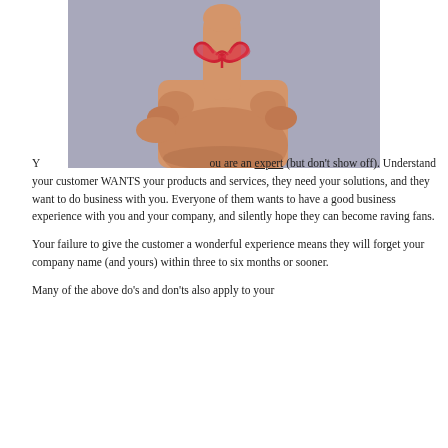[Figure (photo): A hand with the index finger pointing upward, with a red and white string tied in a bow around the fingertip, against a gray background.]
You are an expert (but don't show off). Understand your customer WANTS your products and services, they need your solutions, and they want to do business with you. Everyone of them wants to have a good business experience with you and your company, and silently hope they can become raving fans.

Your failure to give the customer a wonderful experience means they will forget your company name (and yours) within three to six months or sooner.

Many of the above do's and don'ts also apply to your